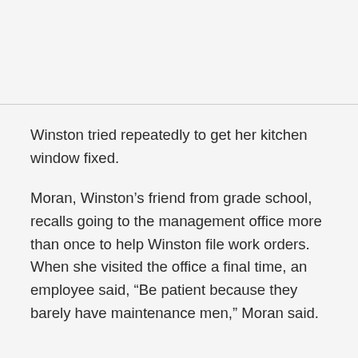Winston tried repeatedly to get her kitchen window fixed.
Moran, Winston’s friend from grade school, recalls going to the management office more than once to help Winston file work orders. When she visited the office a final time, an employee said, “Be patient because they barely have maintenance men,” Moran said.